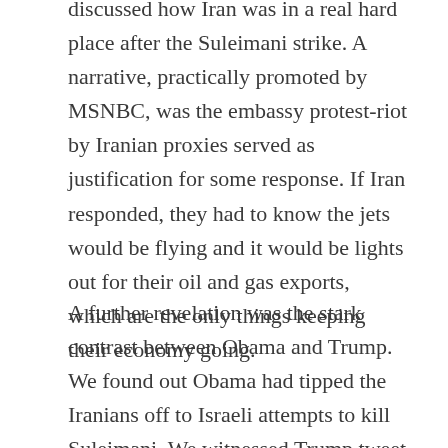discussed how Iran was in a real hard place after the Suleimani strike. A narrative, practically promoted by MSNBC, was the embassy protest-riot by Iranian proxies served as justification for some response. If Iran responded, they had to know the jets would be flying and it would be lights out for their oil and gas exports, which are the only things keeping their economy going.
A further revelation was the stark contrast between Obama and Trump. We found out Obama had tipped the Iranians off to Israeli attempts to kill Suleimani. We witnessed Trump tweet in Farsi to support protesters, which considering the Green Revolution attempt of 2009 means that Obama really did nothing for protesters since he too had not one but two Twitter